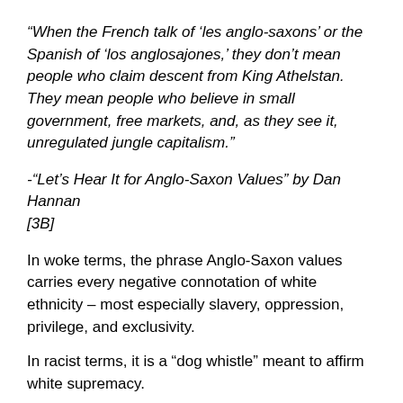“When the French talk of ‘les anglo-saxons’ or the Spanish of ‘los anglosajones,’ they don’t mean people who claim descent from King Athelstan.  They mean people who believe in small government, free markets, and, as they see it, unregulated jungle capitalism.”
-“Let’s Hear It for Anglo-Saxon Values” by Dan Hannan [3B]
In woke terms, the phrase Anglo-Saxon values carries every negative connotation of white ethnicity – most especially slavery, oppression, privilege, and exclusivity.
In racist terms, it is a “dog whistle” meant to affirm white supremacy.
A Spiritual Weapon